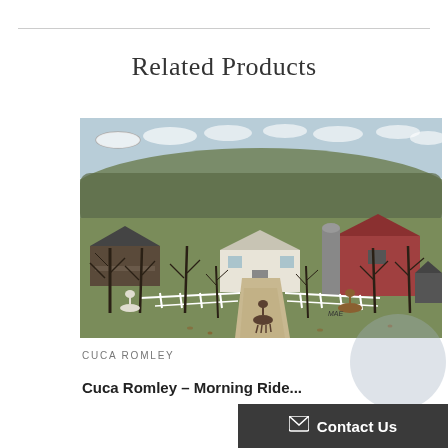Related Products
[Figure (illustration): Folk art painting of a rural farm scene by Cuca Romley (signed MAE). Shows a long driveway leading to a white house in the center, a red barn on the right, and a smaller building on the left, surrounded by bare trees in autumn colors. White fences line the driveway, horses visible near the road and pasture, and fluffy clouds in a light blue sky.]
CUCA ROMLEY
Cuca Romley - Morning Ride...